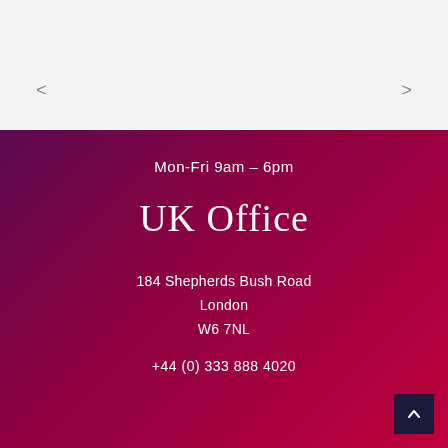<
>
Mon-Fri 9am – 6pm
UK Office
184 Shepherds Bush Road
London
W6 7NL
+44 (0) 333 888 4020